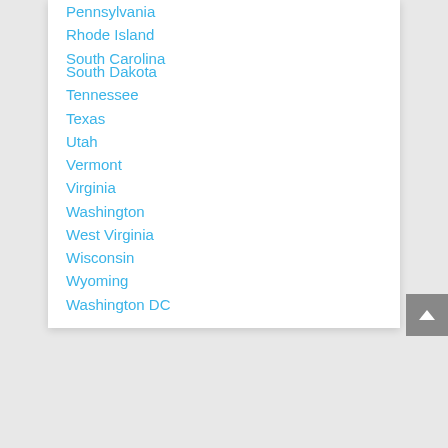Pennsylvania
Rhode Island
South Carolina
South Dakota
Tennessee
Texas
Utah
Vermont
Virginia
Washington
West Virginia
Wisconsin
Wyoming
Washington DC